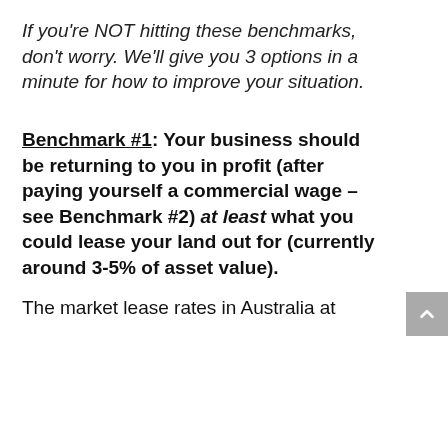If you're NOT hitting these benchmarks, don't worry. We'll give you 3 options in a minute for how to improve your situation.
Benchmark #1: Your business should be returning to you in profit (after paying yourself a commercial wage – see Benchmark #2) at least what you could lease your land out for (currently around 3-5% of asset value).
The market lease rates in Australia at